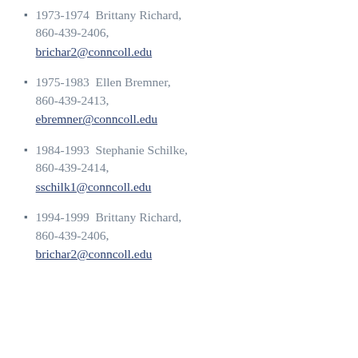1973-1974  Brittany Richard, 860-439-2406, brichar2@conncoll.edu
1975-1983  Ellen Bremner, 860-439-2413, ebremner@conncoll.edu
1984-1993  Stephanie Schilke, 860-439-2414, sschilk1@conncoll.edu
1994-1999  Brittany Richard, 860-439-2406, brichar2@conncoll.edu